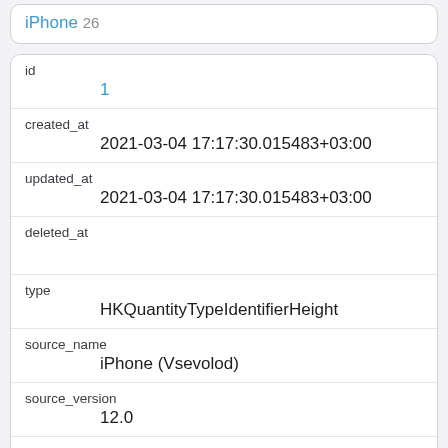iPhone 26
| id | 1 |
| created_at | 2021-03-04 17:17:30.015483+03:00 |
| updated_at | 2021-03-04 17:17:30.015483+03:00 |
| deleted_at |  |
| type | HKQuantityTypeIdentifierHeight |
| source_name | iPhone (Vsevolod) |
| source_version | 12.0 |
| unit | cm |
| creation_date | 2019-01-01 09:13:37+03:00 |